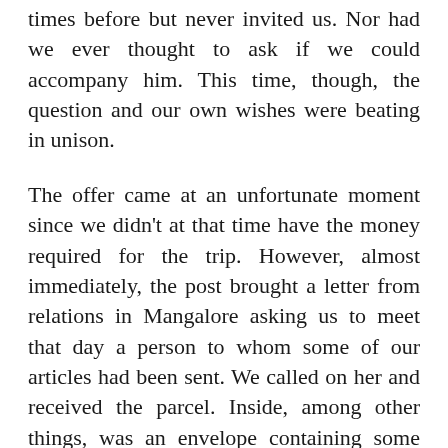times before but never invited us. Nor had we ever thought to ask if we could accompany him. This time, though, the question and our own wishes were beating in unison.
The offer came at an unfortunate moment since we didn't at that time have the money required for the trip. However, almost immediately, the post brought a letter from relations in Mangalore asking us to meet that day a person to whom some of our articles had been sent. We called on her and received the parcel. Inside, among other things, was an envelope containing some currency notes. An accompanying note said that in the haste and confusion of our departure from her house a few months earlier this money had been left in a cupboard in their home. We counted it out and